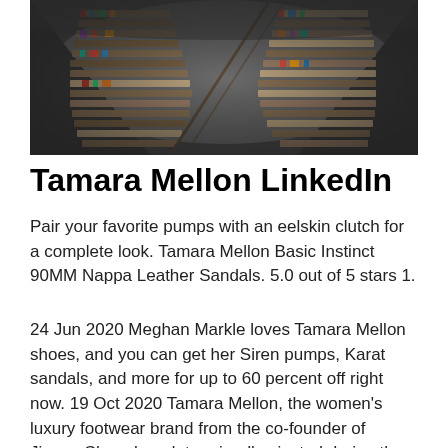[Figure (photo): Interior of a large circular library with bookshelves curving along the walls and a spiral staircase, photographed from a dramatic low angle.]
Tamara Mellon LinkedIn
Pair your favorite pumps with an eelskin clutch for a complete look. Tamara Mellon Basic Instinct 90MM Nappa Leather Sandals. 5.0 out of 5 stars 1.
24 Jun 2020 Meghan Markle loves Tamara Mellon shoes, and you can get her Siren pumps, Karat sandals, and more for up to 60 percent off right now. 19 Oct 2020 Tamara Mellon, the women's luxury footwear brand from the co-founder of Jimmy Choo, has determinedly pivoted during the pandemic, setting. 27 Oct 2020 Tamara Mellon, the next